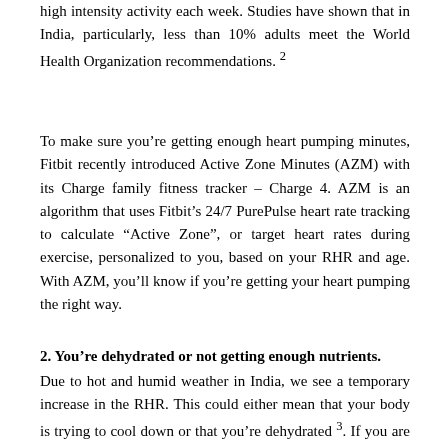high intensity activity each week. Studies have shown that in India, particularly, less than 10% adults meet the World Health Organization recommendations. 2
To make sure you’re getting enough heart pumping minutes, Fitbit recently introduced Active Zone Minutes (AZM) with its Charge family fitness tracker – Charge 4. AZM is an algorithm that uses Fitbit’s 24/7 PurePulse heart rate tracking to calculate “Active Zone”, or target heart rates during exercise, personalized to you, based on your RHR and age. With AZM, you’ll know if you’re getting your heart pumping the right way.
2. You’re dehydrated or not getting enough nutrients.
Due to hot and humid weather in India, we see a temporary increase in the RHR. This could either mean that your body is trying to cool down or that you’re dehydrated 3. If you are thirstier than usual, experiencing a